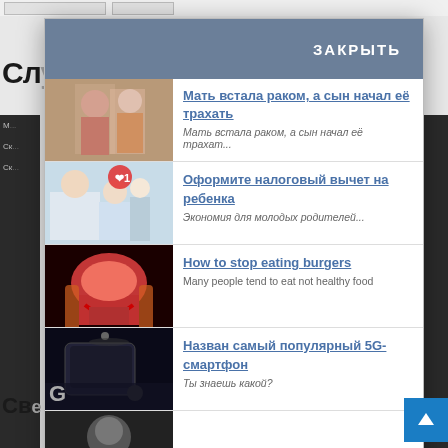[Figure (screenshot): Partial top bar with two button-like elements visible at top of page]
Сл
[Figure (screenshot): Modal popup overlay with header 'ЗАКРЫТЬ' and four clickable article items with thumbnail images and text links]
Мать встала раком, а сын начал её трахать
Мать встала раком, а сын начал её трахат...
Оформите налоговый вычет на ребенка
Экономия для молодых родителей...
How to stop eating burgers
Many people tend to eat not healthy food
Назван самый популярный 5G-смартфон
Ты знаешь какой?
Св